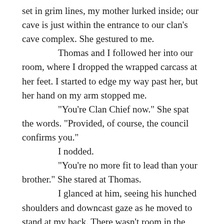set in grim lines, my mother lurked inside; our cave is just within the entrance to our clan's cave complex. She gestured to me.
	Thomas and I followed her into our room, where I dropped the wrapped carcass at her feet. I started to edge my way past her, but her hand on my arm stopped me.
	"You're Clan Chief now." She spat the words. "Provided, of course, the council confirms you."
	I nodded.
	"You're no more fit to lead than your brother." She stared at Thomas.
	I glanced at him, seeing his hunched shoulders and downcast gaze as he moved to stand at my back. There wasn't room in the narrow entrance for him to move past my mother and me.